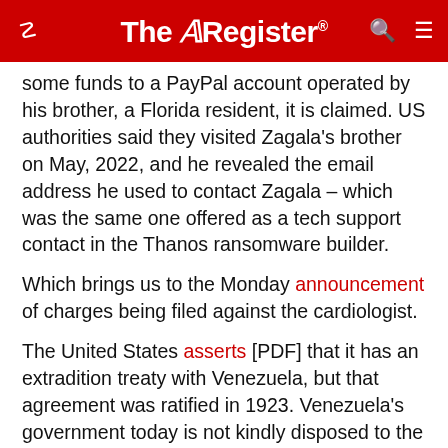The Register
some funds to a PayPal account operated by his brother, a Florida resident, it is claimed. US authorities said they visited Zagala's brother on May, 2022, and he revealed the email address he used to contact Zagala – which was the same one offered as a tech support contact in the Thanos ransomware builder.
Which brings us to the Monday announcement of charges being filed against the cardiologist.
The United States asserts [PDF] that it has an extradition treaty with Venezuela, but that agreement was ratified in 1923. Venezuela's government today is not kindly disposed to the USA, to say the least. The Register suggests getting Zagala into a stateside courtroom will not be easy.